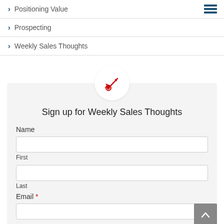> Positioning Value
> Prospecting
> Weekly Sales Thoughts
[Figure (illustration): Red dart/arrow icon pointing at a target, inside a white circle on a light grey card background]
Sign up for Weekly Sales Thoughts
Name
First
Last
Email *